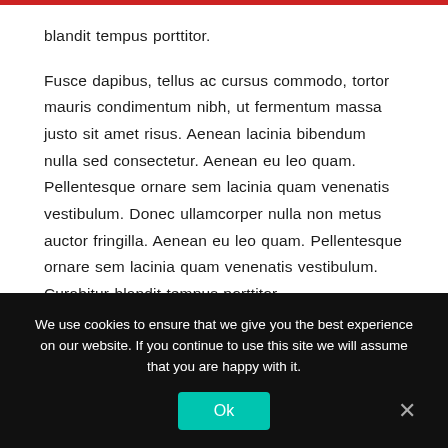blandit tempus porttitor.
Fusce dapibus, tellus ac cursus commodo, tortor mauris condimentum nibh, ut fermentum massa justo sit amet risus. Aenean lacinia bibendum nulla sed consectetur. Aenean eu leo quam. Pellentesque ornare sem lacinia quam venenatis vestibulum. Donec ullamcorper nulla non metus auctor fringilla. Aenean eu leo quam. Pellentesque ornare sem lacinia quam venenatis vestibulum. Curabitur blandit tempus porttitor.
We use cookies to ensure that we give you the best experience on our website. If you continue to use this site we will assume that you are happy with it.